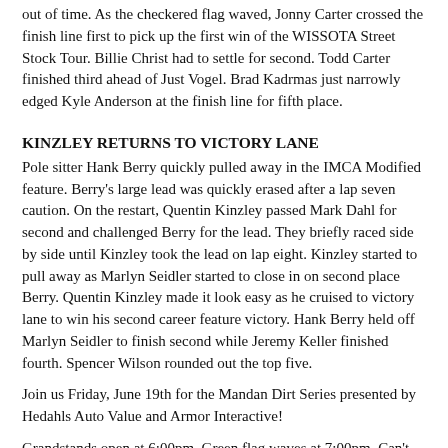out of time. As the checkered flag waved, Jonny Carter crossed the finish line first to pick up the first win of the WISSOTA Street Stock Tour. Billie Christ had to settle for second. Todd Carter finished third ahead of Just Vogel. Brad Kadrmas just narrowly edged Kyle Anderson at the finish line for fifth place.
KINZLEY RETURNS TO VICTORY LANE
Pole sitter Hank Berry quickly pulled away in the IMCA Modified feature. Berry's large lead was quickly erased after a lap seven caution. On the restart, Quentin Kinzley passed Mark Dahl for second and challenged Berry for the lead. They briefly raced side by side until Kinzley took the lead on lap eight. Kinzley started to pull away as Marlyn Seidler started to close in on second place Berry. Quentin Kinzley made it look easy as he cruised to victory lane to win his second career feature victory. Hank Berry held off Marlyn Seidler to finish second while Jeremy Keller finished fourth. Spencer Wilson rounded out the top five.
Join us Friday, June 19th for the Mandan Dirt Series presented by Hedahls Auto Value and Armor Interactive!
Grandstands open at 6:00pm. Green flag waves at 7:00pm. Can't make it to the track? Watch all the exciting racing action LIVE on www.dacotahspeedway.tv!